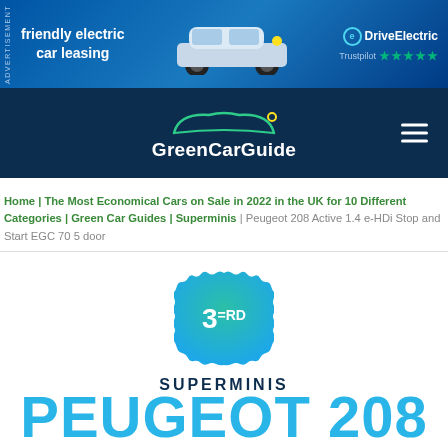[Figure (screenshot): Advertisement banner for DriveElectric friendly electric car leasing with Trustpilot 5-star rating and image of electric car]
[Figure (logo): GreenCarGuide navigation bar logo with car outline and hamburger menu]
Home | The Most Economical Cars on Sale in 2022 in the UK for 10 Different Categories | Green Car Guides | Superminis | Peugeot 208 Active 1.4 e-HDi Stop and Start EGC 70 5 door
[Figure (infographic): Teal badge with '3=RD' ranking in circle with scalloped edge, labeled SUPERMINIS]
PEUGEOT 208